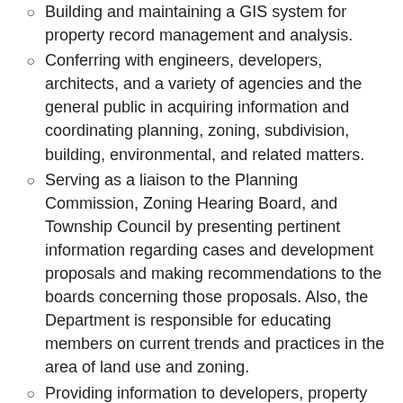Building and maintaining a GIS system for property record management and analysis.
Conferring with engineers, developers, architects, and a variety of agencies and the general public in acquiring information and coordinating planning, zoning, subdivision, building, environmental, and related matters.
Serving as a liaison to the Planning Commission, Zoning Hearing Board, and Township Council by presenting pertinent information regarding cases and development proposals and making recommendations to the boards concerning those proposals. Also, the Department is responsible for educating members on current trends and practices in the area of land use and zoning.
Providing information to developers, property owners, and the general public regarding Township projects, comprehensive plans, and private development proposals.
Enforcing the zoning and property maintenance codes